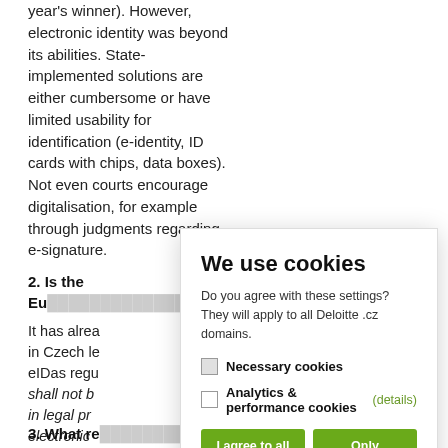year's winner). However, electronic identity was beyond its abilities. State-implemented solutions are either cumbersome or have limited usability for identification (e-identity, ID cards with chips, data boxes). Not even courts encourage digitalisation, for example through judgments regarding e-signature.
2. Is the Eu...
It has alrea... in Czech le... eIDas regu... shall not b... in legal pr... electronic ... do not yet ... prohibition ... standard su... local judge...
[Figure (screenshot): Cookie consent modal dialog with title 'We use cookies', description text, checkbox options for Necessary cookies and Analytics & performance cookies, two green buttons 'I agree to all' and 'Only selected above', and a Cookie Notice link.]
3. What remains to be digitalised.